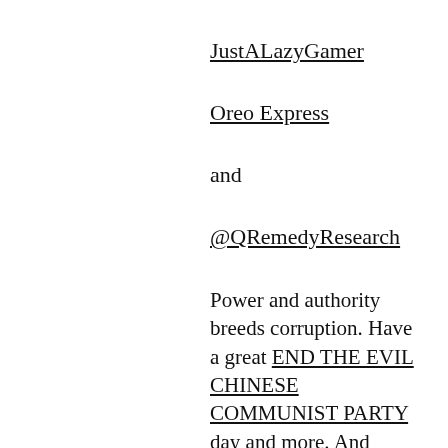JustALazyGamer
Oreo Express
and
@QRemedyResearch
Power and authority breeds corruption. Have a great END THE EVIL CHINESE COMMUNIST PARTY day and more. And what, if anything, does this have to do with a No Police State.